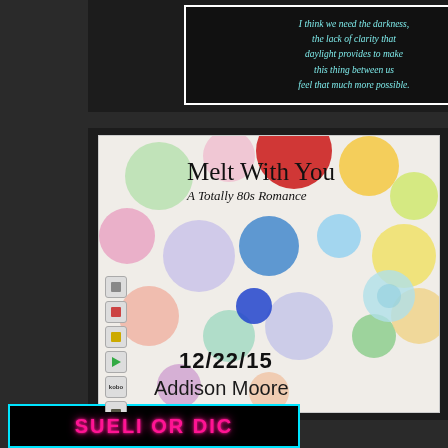[Figure (illustration): Dark background with a white-bordered text box containing a quote in teal italic text: 'I think we need the darkness, the lack of clarity that daylight provides to make this thing between us feel that much more possible.']
[Figure (illustration): Book cover for 'Melt With You: A Totally 80s Romance' by Addison Moore. Features a woman in a yellow dress holding a gold spray can, surrounded by colorful polka dots on a light background. Release date 12/22/15 shown. Small app store icons on the left side.]
[Figure (illustration): Partially visible bottom banner with neon pink text on black background with cyan border. Text appears to read a website or social media handle.]